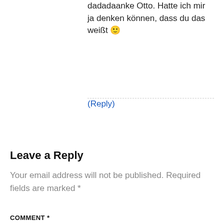dadadaanke Otto. Hatte ich mir ja denken können, dass du das weißt 🙂
(Reply)
Leave a Reply
Your email address will not be published. Required fields are marked *
COMMENT *